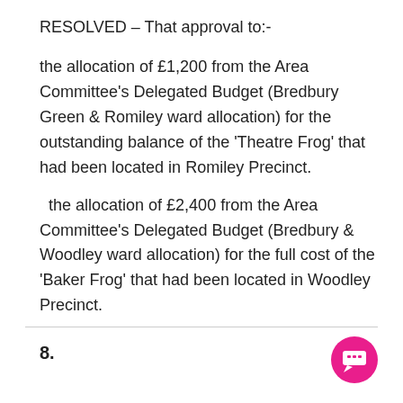RESOLVED – That approval to:-
the allocation of £1,200 from the Area Committee's Delegated Budget (Bredbury Green & Romiley ward allocation) for the outstanding balance of the 'Theatre Frog' that had been located in Romiley Precinct.
the allocation of £2,400 from the Area Committee's Delegated Budget (Bredbury & Woodley ward allocation) for the full cost of the 'Baker Frog' that had been located in Woodley Precinct.
8.